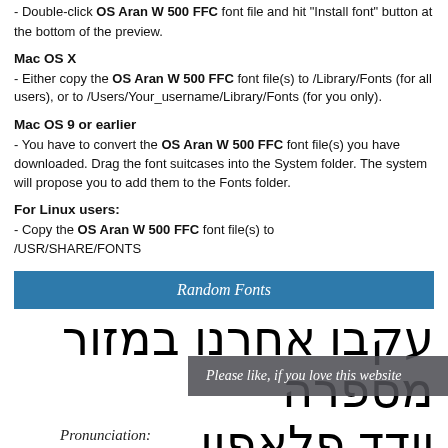- Double-click OS Aran W 500 FFC font file and hit "Install font" button at the bottom of the preview.
Mac OS X
- Either copy the OS Aran W 500 FFC font file(s) to /Library/Fonts (for all users), or to /Users/Your_username/Library/Fonts (for you only).
Mac OS 9 or earlier
- You have to convert the OS Aran W 500 FFC font file(s) you have downloaded. Drag the font suitcases into the System folder. The system will propose you to add them to the Fonts folder.
For Linux users:
- Copy the OS Aran W 500 FFC font file(s) to /USR/SHARE/FONTS
[Figure (other): Blue banner with italic text: Random Fonts]
[Figure (other): Large Hebrew text displaying font sample]
Please like, if you love this website
Pronunciation: